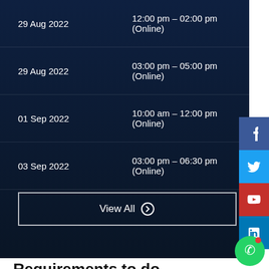| Date | Time |
| --- | --- |
| 29 Aug 2022 | 12:00 pm – 02:00 pm (Online) |
| 29 Aug 2022 | 03:00 pm – 05:00 pm (Online) |
| 01 Sep 2022 | 10:00 am – 12:00 pm (Online) |
| 03 Sep 2022 | 03:00 pm – 06:30 pm (Online) |
View All ⊕
Requirements to do Information Security Course
Basic Computer Knowledge to work
Good and fluent Internet Information
Candidates having a keen interest in distinguished